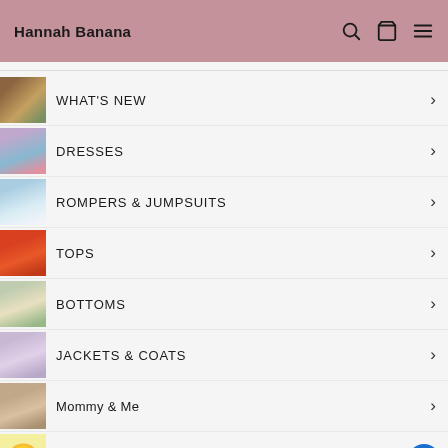Hannah Banana
WHAT'S NEW
DRESSES
ROMPERS & JUMPSUITS
TOPS
BOTTOMS
JACKETS & COATS
Mommy & Me
ACCESSORIES